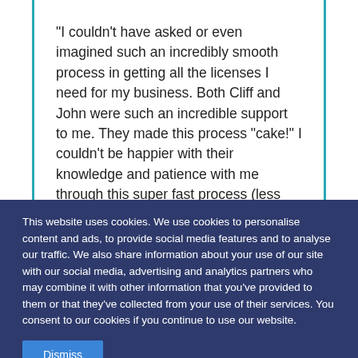"I couldn't have asked or even imagined such an incredibly smooth process in getting all the licenses I need for my business. Both Cliff and John were such an incredible support to me. They made this process "cake!" I couldn't be happier with their knowledge and patience with me through this super fast process (less than a week). They leave nothing to chance and make sure twice or more that all is correct. I'd recommend this company strongly in that they are very competent as well as
This website uses cookies. We use cookies to personalise content and ads, to provide social media features and to analyse our traffic. We also share information about your use of our site with our social media, advertising and analytics partners who may combine it with other information that you've provided to them or that they've collected from your use of their services. You consent to our cookies if you continue to use our website.
Dismiss